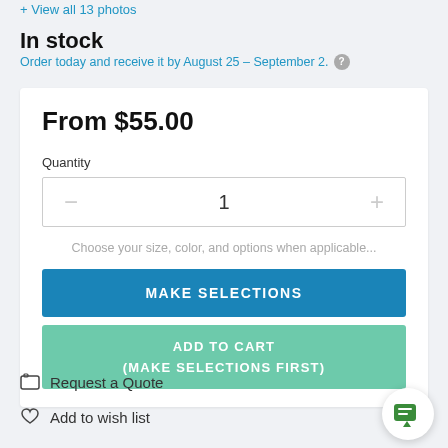+ View all 13 photos
In stock
Order today and receive it by August 25 - September 2.
From $55.00
Quantity
1
Choose your size, color, and options when applicable...
MAKE SELECTIONS
ADD TO CART
(MAKE SELECTIONS FIRST)
Request a Quote
Add to wish list